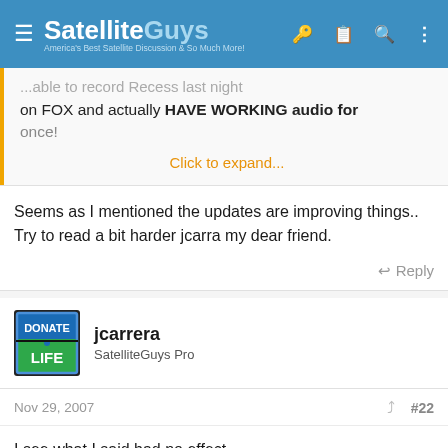SatelliteGuys — America's Best Satellite Discussion & So Much More!
...able to record Recess last night on FOX and actually HAVE WORKING audio for once!
Click to expand...
Seems as I mentioned the updates are improving things.. Try to read a bit harder jcarra my dear friend.
Reply
jcarrera
SatelliteGuys Pro
Nov 29, 2007  #22
I see what I said had no effect.